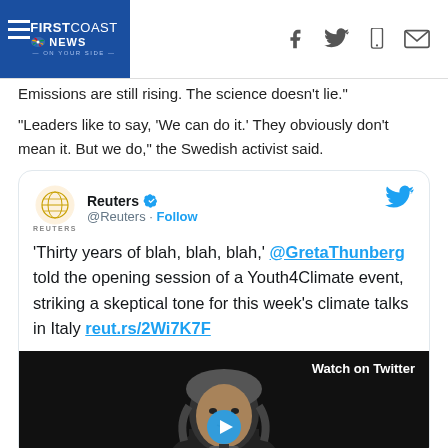FIRSTCOAST NEWS - On Your Side
Emissions are still rising. The science doesn't lie."
"Leaders like to say, 'We can do it.' They obviously don't mean it. But we do," the Swedish activist said.
[Figure (screenshot): Embedded tweet from Reuters (@Reuters) with verified badge and Follow button. Tweet text: 'Thirty years of blah, blah, blah,' @GretaThunberg told the opening session of a Youth4Climate event, striking a skeptical tone for this week's climate talks in Italy reut.rs/2Wi7K7F. Includes a Twitter video thumbnail showing Greta Thunberg with 'Watch on Twitter' label.]